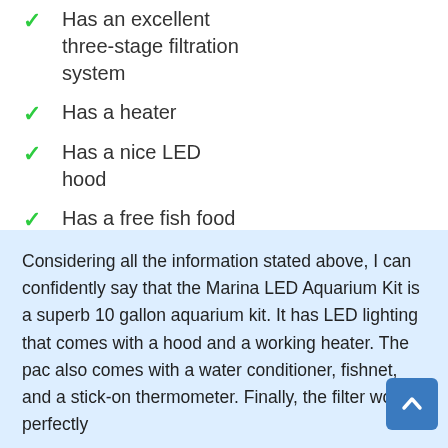Has an excellent three-stage filtration system
Has a heater
Has a nice LED hood
Has a free fish food
Has a water conditioner
Has a fishnet
Considering all the information stated above, I can confidently say that the Marina LED Aquarium Kit is a superb 10 gallon aquarium kit. It has LED lighting that comes with a hood and a working heater. The pac also comes with a water conditioner, fishnet, and a stick-on thermometer. Finally, the filter works perfectly